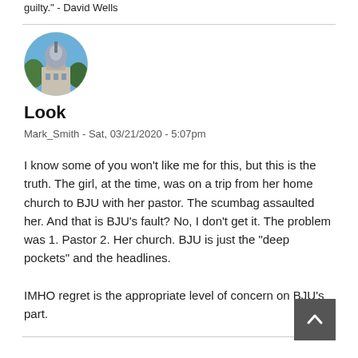guilty." - David Wells
[Figure (photo): Circular avatar image showing a building with a dome and trees against a blue sky]
Look
Mark_Smith - Sat, 03/21/2020 - 5:07pm
I know some of you won't like me for this, but this is the truth. The girl, at the time, was on a trip from her home church to BJU with her pastor. The scumbag assaulted her. And that is BJU's fault? No, I don't get it. The problem was 1. Pastor 2. Her church. BJU is just the "deep pockets" and the headlines.
IMHO regret is the appropriate level of concern on BJU's part.